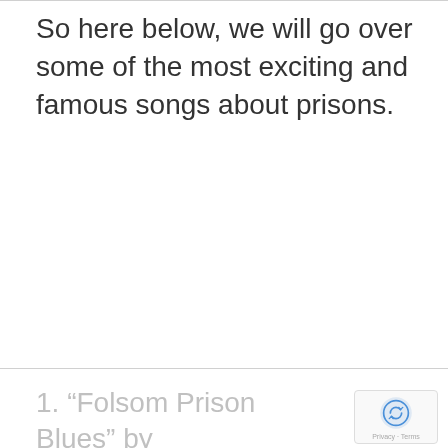So here below, we will go over some of the most exciting and famous songs about prisons.
1. “Folsom Prison Blues” by Johnny Cash